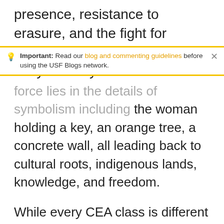presence, resistance to erasure, and the fight for liberation stands tall over this busy freeway
Important: Read our blog and commenting guidelines before using the USF Blogs network.
force lies in the details of symbolism including the woman holding a key, an orange tree, a concrete wall, all leading back to cultural roots, indigenous lands, knowledge, and freedom.

While every CEA class is different than the last, there is the central theme of learning about systems of oppression and how we see the community mobilizing in the name of love and liberation. Our mid-year retreat embodied our learning this past year and left our class filled with gratitude and love.